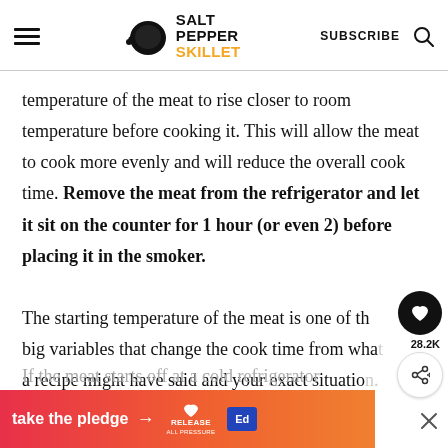Salt Pepper Skillet — SUBSCRIBE
temperature of the meat to rise closer to room temperature before cooking it. This will allow the meat to cook more evenly and will reduce the overall cook time. Remove the meat from the refrigerator and let it sit on the counter for 1 hour (or even 2) before placing it in the smoker.

The starting temperature of the meat is one of the big variables that change the cook time from what a recipe might have said and your exact situation. If the meat starts off at a cold refrigerator te... extra.